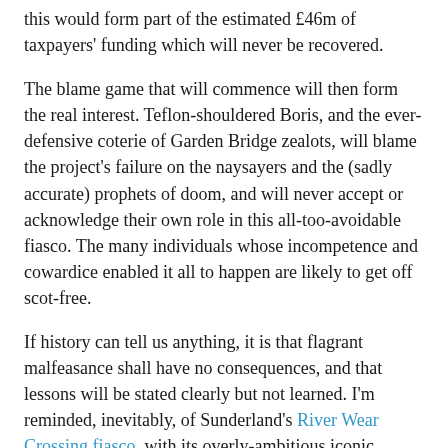this would form part of the estimated £46m of taxpayers' funding which will never be recovered.
The blame game that will commence will then form the real interest. Teflon-shouldered Boris, and the ever-defensive coterie of Garden Bridge zealots, will blame the project's failure on the naysayers and the (sadly accurate) prophets of doom, and will never accept or acknowledge their own role in this all-too-avoidable fiasco. The many individuals whose incompetence and cowardice enabled it all to happen are likely to get off scot-free.
If history can tell us anything, it is that flagrant malfeasance shall have no consequences, and that lessons will be stated clearly but not learned. I'm reminded, inevitably, of Sunderland's River Wear Crossing fiasco, with its overly-ambitious iconic design, the deafness of all involved to external criticism, and the millions of pounds pointlessly wasted. Those responsible in that case also suffered no consequence.
Readers may also fondly recall Glasgow's Broomielaw to